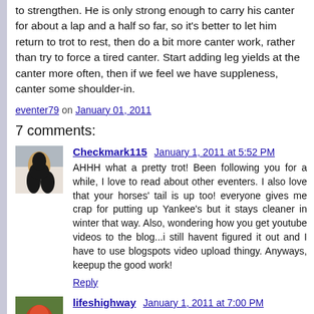to strengthen. He is only strong enough to carry his canter for about a lap and a half so far, so it's better to let him return to trot to rest, then do a bit more canter work, rather than try to force a tired canter. Start adding leg yields at the canter more often, then if we feel we have suppleness, canter some shoulder-in.
eventer79 on January 01, 2011
7 comments:
Checkmark115  January 1, 2011 at 5:52 PM
AHHH what a pretty trot! Been following you for a while, I love to read about other eventers. I also love that your horses' tail is up too! everyone gives me crap for putting up Yankee's but it stays cleaner in winter that way. Also, wondering how you get youtube videos to the blog...i still havent figured it out and I have to use blogspots video upload thingy. Anyways, keepup the good work!
Reply
lifeshighway  January 1, 2011 at 7:00 PM
sigh, I have such a looooong way to go.
Reply